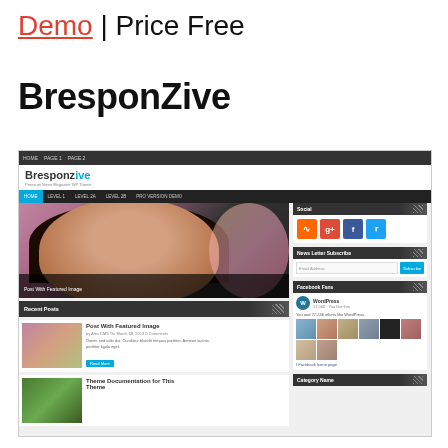Demo | Price Free
BresponZive
[Figure (screenshot): Screenshot of the BresponZive WordPress theme showing a responsive news/magazine layout with navigation, featured image of a smiling woman, social media widgets, newsletter subscribe widget, Facebook Fans widget, Recent Posts section, and Category Name widget.]